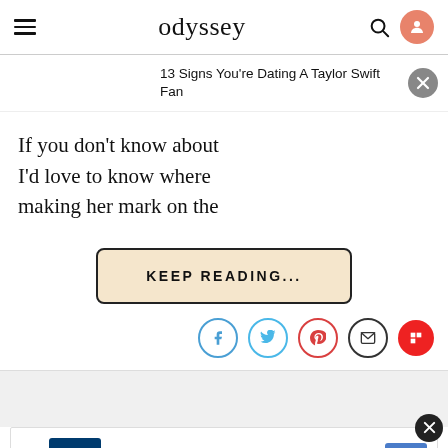odyssey
13 Signs You're Dating A Taylor Swift Fan
If you don't know about   I'd love to know where   making her mark on the
KEEP READING...
[Figure (other): Social share icons: Facebook, Twitter, Pinterest, Email, Flipboard]
[Figure (other): Petco advertisement banner: Get Your Pet Ready For Summe - Petco]
Get Your Pet Ready For Summe Petco